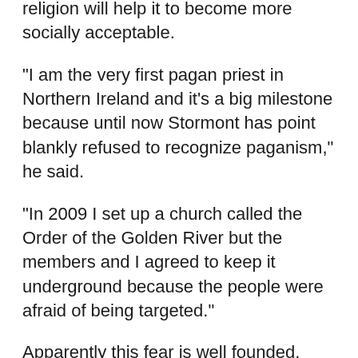religion will help it to become more socially acceptable.
“I am the very first pagan priest in Northern Ireland and it’s a big milestone because until now Stormont has point blankly refused to recognize paganism,” he said.
“In 2009 I set up a church called the Order of the Golden River but the members and I agreed to keep it underground because the people were afraid of being targeted.”
Apparently this fear is well founded. Patrick was assaulted at a small outlet he opened in the Park Centre last September. But he says he’s now happy to announce he is a full-time priest in the pagan religion, now that he has official recognition.
“I’m not in the slightest bit bothered. I am a full-time pagan